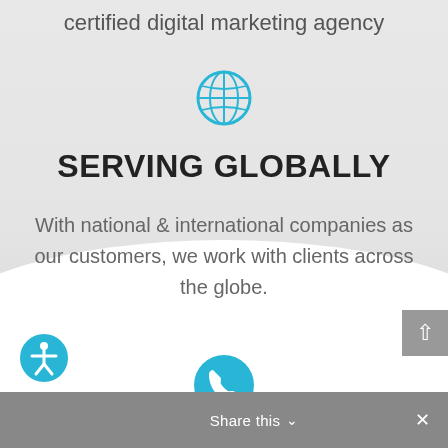certified digital marketing agency
[Figure (illustration): Globe/world icon in cyan/teal color]
SERVING GLOBALLY
With national & international companies as our customers, we work with clients across the globe.
[Figure (illustration): Scroll-to-top button (gray, up arrow)]
[Figure (illustration): Accessibility icon (cyan circle with person figure)]
[Figure (illustration): Phone call icon (cyan circle with handset)]
Share this ∨  ×